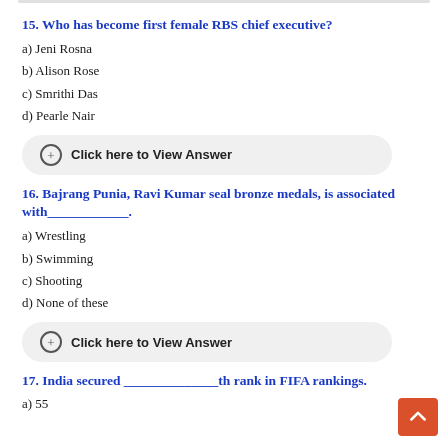15. Who has become first female RBS chief executive?
a) Jeni Rosna
b) Alison Rose
c) Smrithi Das
d) Pearle Nair
Click here to View Answer
16. Bajrang Punia, Ravi Kumar seal bronze medals, is associated with____________.
a) Wrestling
b) Swimming
c) Shooting
d) None of these
Click here to View Answer
17. India secured ______________th rank in FIFA rankings.
a) 55